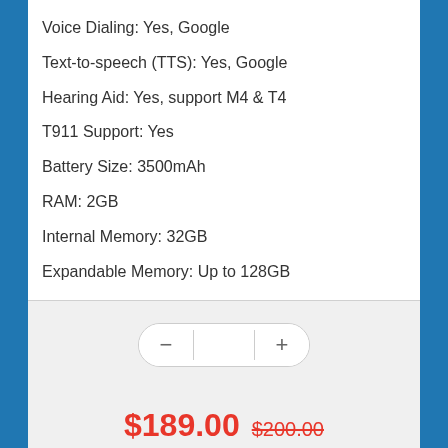Voice Dialing: Yes, Google
Text-to-speech (TTS): Yes, Google
Hearing Aid: Yes, support M4 & T4
T911 Support: Yes
Battery Size: 3500mAh
RAM: 2GB
Internal Memory: 32GB
Expandable Memory: Up to 128GB
$189.00  $200.00
Add to Cart